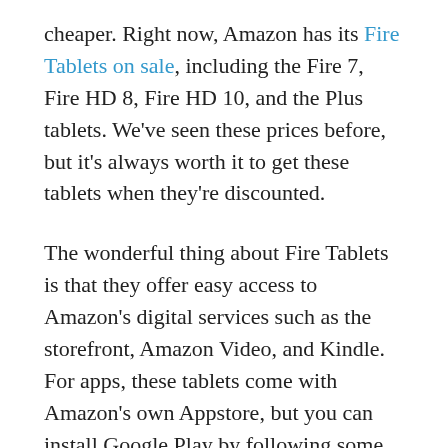cheaper. Right now, Amazon has its Fire Tablets on sale, including the Fire 7, Fire HD 8, Fire HD 10, and the Plus tablets. We've seen these prices before, but it's always worth it to get these tablets when they're discounted.
The wonderful thing about Fire Tablets is that they offer easy access to Amazon's digital services such as the storefront, Amazon Video, and Kindle. For apps, these tablets come with Amazon's own Appstore, but you can install Google Play by following some basic instructions online. Just make sure you follow instructions from a reputable site.
Today's sale includes the regular Fire HD tablets, as well as the Plus models that have additional RAM to